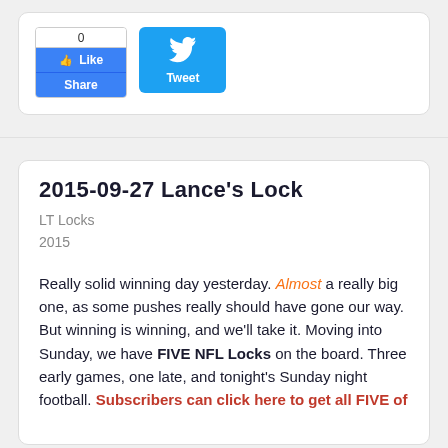[Figure (screenshot): Facebook Like/Share widget and Twitter Tweet button]
2015-09-27 Lance's Lock
LT Locks
2015
Really solid winning day yesterday. Almost a really big one, as some pushes really should have gone our way. But winning is winning, and we'll take it. Moving into Sunday, we have FIVE NFL Locks on the board. Three early games, one late, and tonight's Sunday night football. Subscribers can click here to get all FIVE of